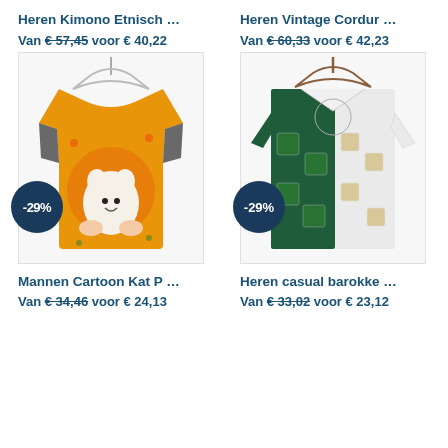Heren Kimono Etnisch …
Van € 57,45 voor € 40,22
Heren Vintage Cordur …
Van € 60,33 voor € 42,23
[Figure (photo): Colorful cat-print short sleeve shirt on hanger with -29% badge]
[Figure (photo): Green and white baroque print short sleeve shirt on hanger with -29% badge]
Mannen Cartoon Kat P …
Van € 34,46 voor € 24,13
Heren casual barokke …
Van € 33,02 voor € 23,12